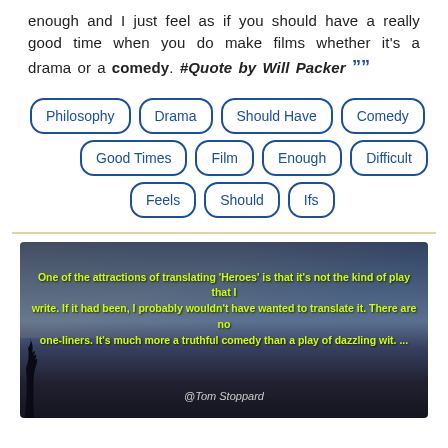enough and I just feel as if you should have a really good time when you do make films whether it's a drama or a comedy. #Quote by Will Packer ””
[Figure (infographic): Tag cloud with blue rounded-rectangle tags: Philosophy, Drama, Should Have, Comedy, Good Times, Film, Enough, Difficult, Feels, Should, Ifs]
[Figure (photo): Dark twilight sky photo with yellow italic text: 'One of the attractions of translating "Heroes" is that it's not the kind of play that I write. If it had been, I probably wouldn't have wanted to translate it. There are no one-liners. It's much more a truthful comedy than a play of dazzling wit. ...' Attribution: @Tom Stoppard]